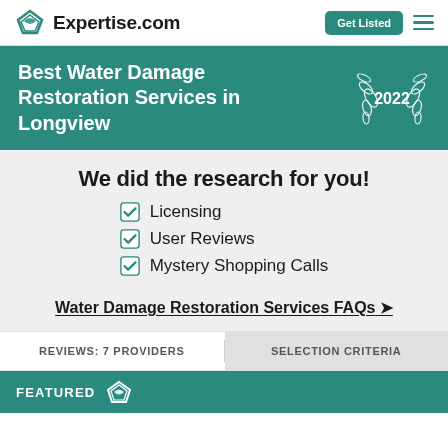Expertise.com | Get Listed
Best Water Damage Restoration Services in Longview 2022
We did the research for you!
Licensing
User Reviews
Mystery Shopping Calls
Water Damage Restoration Services FAQs
REVIEWS: 7 PROVIDERS
SELECTION CRITERIA
FEATURED